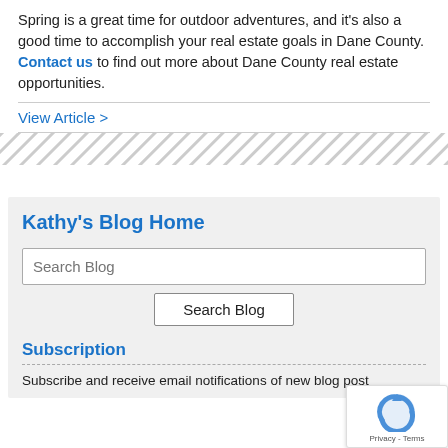Spring is a great time for outdoor adventures, and it's also a good time to accomplish your real estate goals in Dane County. Contact us to find out more about Dane County real estate opportunities.
View Article >
[Figure (other): Diagonal hatched stripe banner/divider]
Kathy's Blog Home
Search Blog (input field)
Search Blog (button)
Subscription
Subscribe and receive email notifications of new blog post